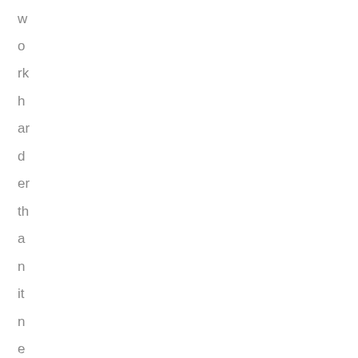w
o
rk
h
ar
d
er
th
a
n
it
n
e